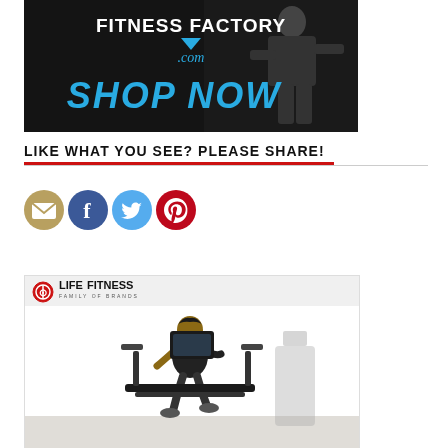[Figure (photo): Fitness Factory .com advertisement banner with 'SHOP NOW' text on dark background with person exercising]
LIKE WHAT YOU SEE? PLEASE SHARE!
[Figure (infographic): Social sharing icons: email (envelope), Facebook, Twitter, Pinterest]
[Figure (photo): Life Fitness Family of Brands advertisement showing a man using exercise equipment in a bright room]